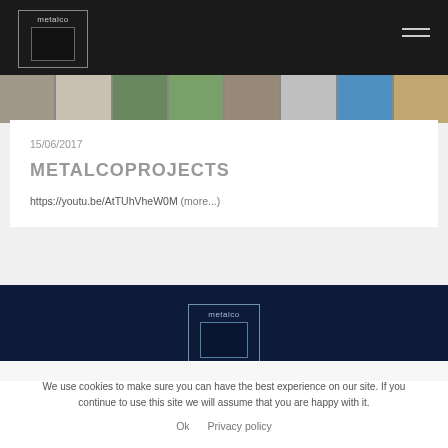[Figure (logo): Metalco logo — white text 'metalco' above a dark square, outlined box, on black header bar]
[Figure (photo): Horizontal image strip showing multiple thumbnail photos of outdoor furniture and public space installations]
15/06/2017
METALCOPROJECTS
https://youtu.be/AtTUhVheW0M (more...)
[Figure (screenshot): Dark navy video thumbnail showing the Metalco logo box centered, with a small blue element in the lower right]
We use cookies to make sure you can have the best experience on our site. If you continue to use this site we will assume that you are happy with it.
Ok   Privacy policy